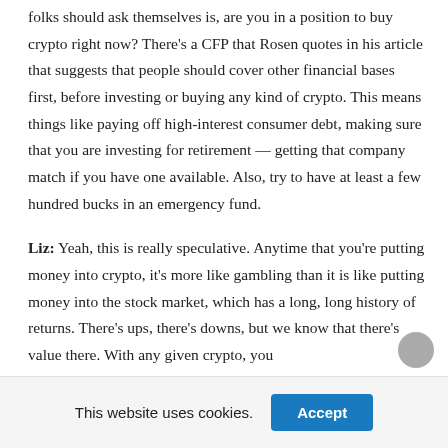folks should ask themselves is, are you in a position to buy crypto right now? There's a CFP that Rosen quotes in his article that suggests that people should cover other financial bases first, before investing or buying any kind of crypto. This means things like paying off high-interest consumer debt, making sure that you are investing for retirement — getting that company match if you have one available. Also, try to have at least a few hundred bucks in an emergency fund.
Liz: Yeah, this is really speculative. Anytime that you're putting money into crypto, it's more like gambling than it is like putting money into the stock market, which has a long, long history of returns. There's ups, there's downs, but we know that there's value there. With any given crypto, you
This website uses cookies.